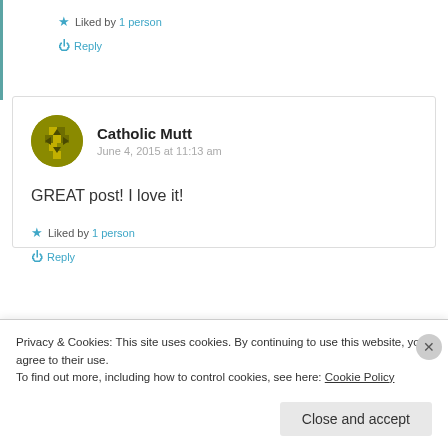★ Liked by 1 person
↺ Reply
Catholic Mutt
June 4, 2015 at 11:13 am
GREAT post! I love it!
★ Liked by 1 person
↺ Reply
Privacy & Cookies: This site uses cookies. By continuing to use this website, you agree to their use.
To find out more, including how to control cookies, see here: Cookie Policy
Close and accept